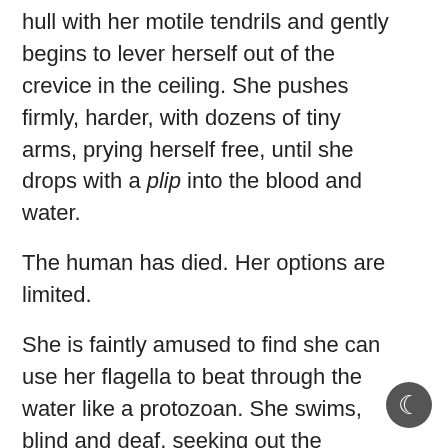hull with her motile tendrils and gently begins to lever herself out of the crevice in the ceiling. She pushes firmly, harder, with dozens of tiny arms, prying herself free, until she drops with a plip into the blood and water.
The human has died. Her options are limited.
She is faintly amused to find she can use her flagella to beat through the water like a protozoan. She swims, blind and deaf, seeking out the human.
It’s possible her presence, or the human’s death, has set off alarms. She doesn’t know. She has no sense of hearing, and can only barely sense pressures gentler than a relativistic impact with a moon. But